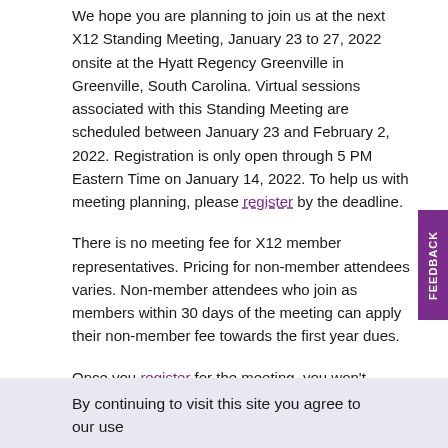We hope you are planning to join us at the next X12 Standing Meeting, January 23 to 27, 2022 onsite at the Hyatt Regency Greenville in Greenville, South Carolina. Virtual sessions associated with this Standing Meeting are scheduled between January 23 and February 2, 2022. Registration is only open through 5 PM Eastern Time on January 14, 2022. To help us with meeting planning, please register by the deadline.
There is no meeting fee for X12 member representatives. Pricing for non-member attendees varies. Non-member attendees who join as members within 30 days of the meeting can apply their non-member fee towards the first year dues.
Once you register for the meeting, you won't receive additional registration reminders.
Hotel Reservation
X12 discusses hotel room rates available through the...
By continuing to visit this site you agree to our use